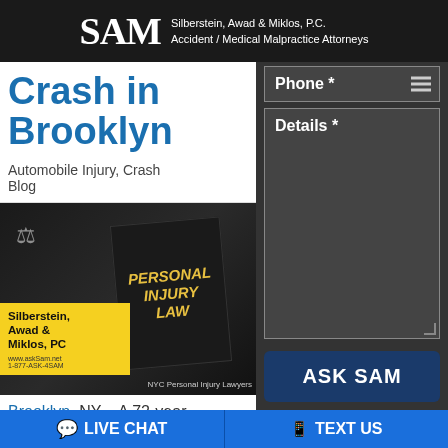[Figure (logo): SAM logo - Silberstein, Awad & Miklos, P.C. Accident / Medical Malpractice Attorneys header]
Crash in Brooklyn
Automobile Injury, Crash Blog
[Figure (photo): Personal Injury Law book with gavel and scales of justice, NYC Personal Injury Lawyers, Silberstein, Awad & Miklos, PC yellow badge]
Brooklyn, NY – A 72-year-old pedestrian sustained
Phone *
Details *
ASK SAM
LIVE CHAT
TEXT US